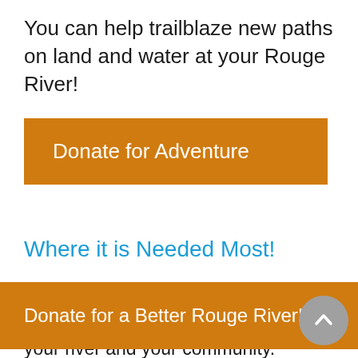You can help trailblaze new paths on land and water at your Rouge River!
[Figure (other): Orange donation button labeled 'Donate for Adventure']
Where it is Needed Most!
Your Friends will put your gift to work, where it is needed most, to better your river and your community.
[Figure (other): Orange donation button labeled 'Donate for a Better Rouge River!' with a gray scroll-to-top circular arrow button overlapping the right side]